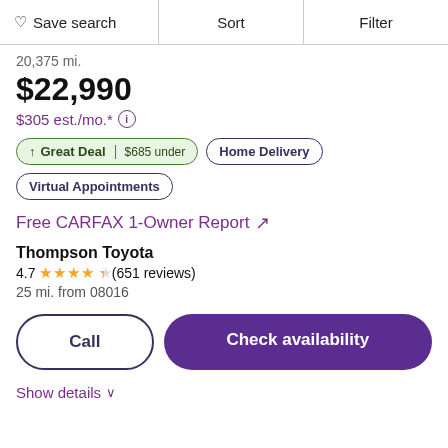♡ Save search | Sort | Filter
20,375 mi.
$22,990
$305 est./mo.* ⓘ
↑ Great Deal | $685 under
Home Delivery
Virtual Appointments
Free CARFAX 1-Owner Report ↗
Thompson Toyota
4.7 ★★★★½ (651 reviews)
25 mi. from 08016
Call
Check availability
Show details ∨